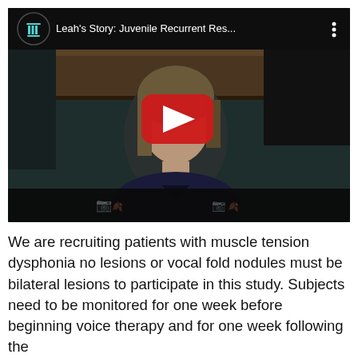[Figure (screenshot): YouTube video thumbnail embedded in a webpage showing a woman speaking, with video title 'Leah's Story: Juvenile Recurrent Res...' and a red play button overlay]
We are recruiting patients with muscle tension dysphonia no lesions or vocal fold nodules must be bilateral lesions to participate in this study. Subjects need to be monitored for one week before beginning voice therapy and for one week following the